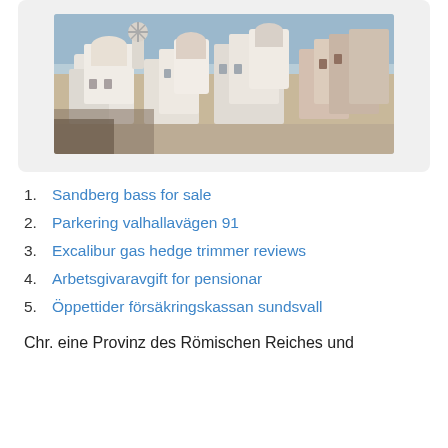[Figure (photo): Aerial/elevated view of white-washed buildings in Santorini, Greece, with domed structures and a windmill visible against a coastal backdrop.]
1. Sandberg bass for sale
2. Parkering valhallavägen 91
3. Excalibur gas hedge trimmer reviews
4. Arbetsgivaravgift for pensionar
5. Öppettider försäkringskassan sundsvall
Chr. eine Provinz des Römischen Reiches und